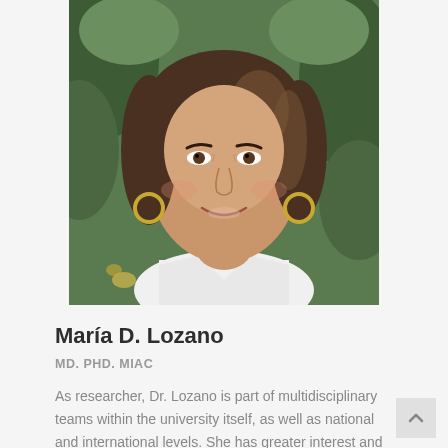[Figure (photo): Professional headshot of María D. Lozano, a woman with shoulder-length brown hair wearing gold hoop earrings and a white lab coat, photographed outdoors with green foliage in the background.]
María D. Lozano
MD. PHD. MIAC
As researcher, Dr. Lozano is part of multidisciplinary teams within the university itself, as well as national and international levels. She has greater interest and extensive